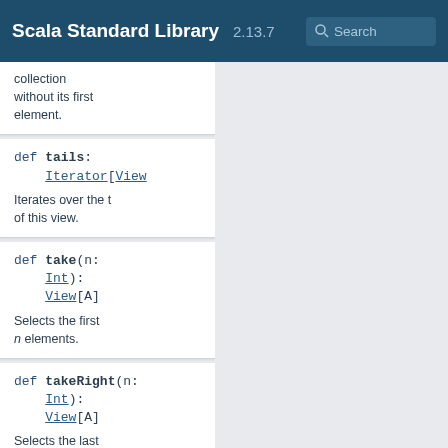Scala Standard Library 2.13.7 Search
collection without its first element.
def tails: Iterator[View
Iterates over the tails of this view.
def take(n: Int): View[A]
Selects the first n elements.
def takeRight(n: Int): View[A]
Selects the last n elements.
def takeWhile(p: (A) =>